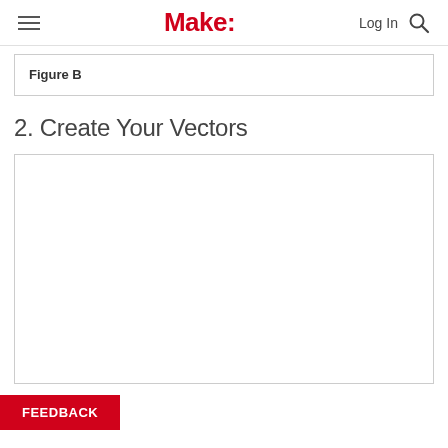Make: — Log In (search icon)
Figure B
2. Create Your Vectors
[Figure (other): Large white empty image placeholder box with thin border]
FEEDBACK